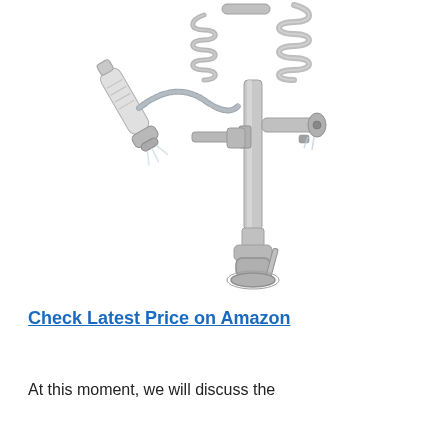[Figure (photo): A stainless steel brushed nickel kitchen faucet with a spring coil neck and pull-down spray head, shown detached/extended beside the main faucet body with a handle, on a white background.]
Check Latest Price on Amazon
At this moment, we will discuss the